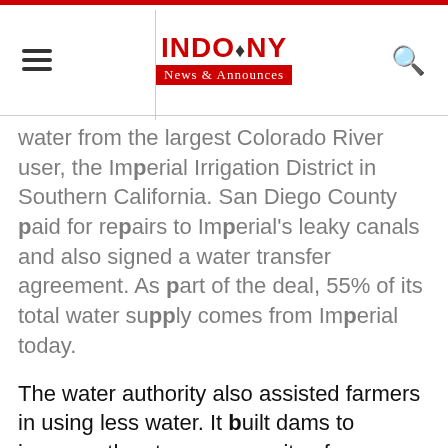INDO & NY News & Announces
water from the largest Colorado River user, the Imperial Irrigation District in Southern California. San Diego County paid for repairs to Imperial's leaky canals and also signed a water transfer agreement. As part of the deal, 55% of its total water supply comes from Imperial today.
The water authority also assisted farmers in using less water. It built dams to increase the storage capacity of reservoirs. It offered rebates to homeowners who removed grass lawns in order to use water-efficient options.
San Diego County made a deal in 2012 to receive 10% of its water supply from Carlsbad Desalination Plant over the next 30 year. It produces 50 million gallons per day of water, enough to supply